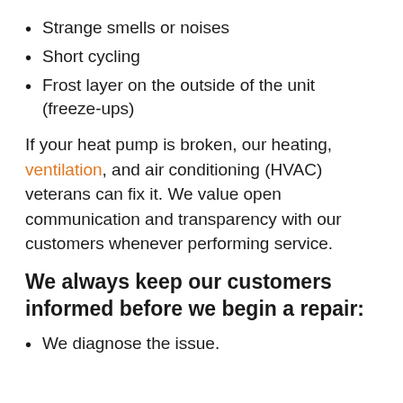Strange smells or noises
Short cycling
Frost layer on the outside of the unit (freeze-ups)
If your heat pump is broken, our heating, ventilation, and air conditioning (HVAC) veterans can fix it. We value open communication and transparency with our customers whenever performing service.
We always keep our customers informed before we begin a repair:
We diagnose the issue.